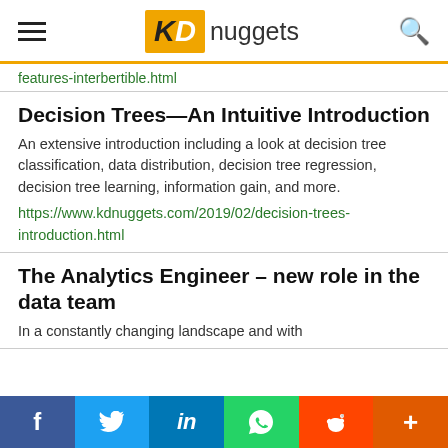KDnuggets
features-interbertible.html
Decision Trees—An Intuitive Introduction
An extensive introduction including a look at decision tree classification, data distribution, decision tree regression, decision tree learning, information gain, and more.
https://www.kdnuggets.com/2019/02/decision-trees-introduction.html
The Analytics Engineer – new role in the data team
In a constantly changing landscape and with